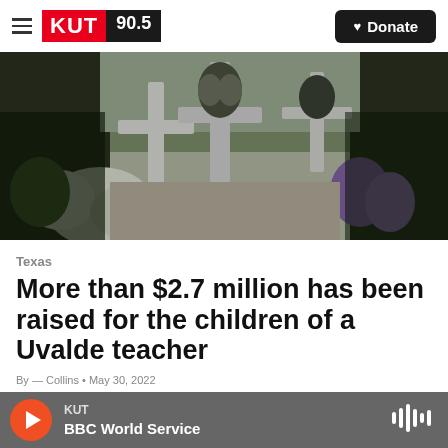KUT 90.5 | Donate
[Figure (photo): Memorial crosses with flowers and decorations, appearing to be a memorial site for shooting victims with white crosses and floral arrangements in the foreground]
Texas
More than $2.7 million has been raised for the children of a Uvalde teacher
By — Collins • May 30, 2022
KUT | BBC World Service